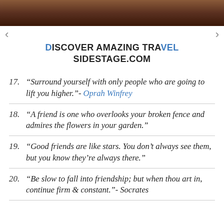[Figure (photo): Cropped photo strip at top of page, dark brown/reddish tones, appears to be a person]
DISCOVER AMAZING TRAVEL SIDESTAGE.COM
17. “Surround yourself with only people who are going to lift you higher.”- Oprah Winfrey
18. “A friend is one who overlooks your broken fence and admires the flowers in your garden.”
19. “Good friends are like stars. You don’t always see them, but you know they’re always there.”
20. “Be slow to fall into friendship; but when thou art in, continue firm & constant.”- Socrates